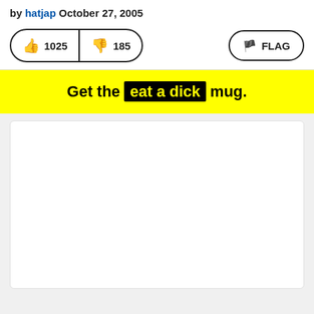by hatjap October 27, 2005
[Figure (other): Vote buttons showing thumbs up 1025 and thumbs down 185, plus a FLAG button]
Get the eat a dick mug.
[Figure (other): White card placeholder area]